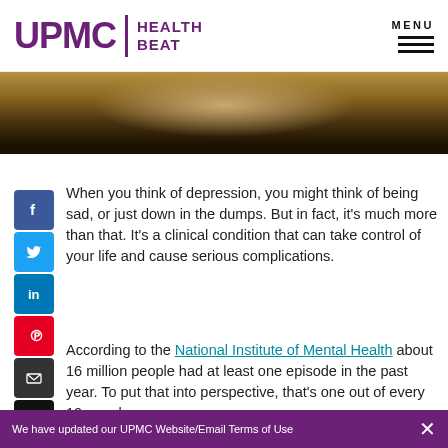UPMC | HEALTH BEAT
[Figure (photo): Partial photo of a person, mostly cropped, dark tones]
When you think of depression, you might think of being sad, or just down in the dumps. But in fact, it's much more than that. It's a clinical condition that can take control of your life and cause serious complications.
According to the National Institute of Mental Health about 16 million people had at least one episode in the past year. To put that into perspective, that's one out of every 10 people.
We have updated our UPMC Website/Email Terms of Use